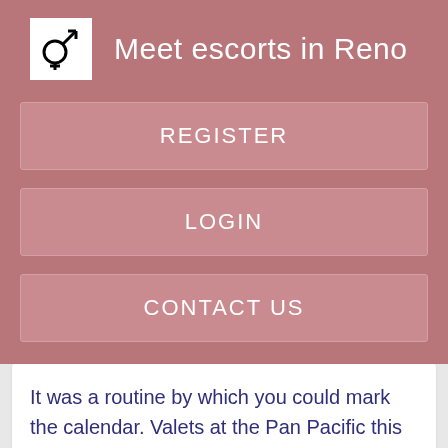Meet escorts in Reno
REGISTER
LOGIN
CONTACT US
It was a routine by which you could mark the calendar. Valets at the Pan Pacific this night — young men familiar with the tips that follow a good performance — jumped immediately to Keavy's assistance.
Online: Now